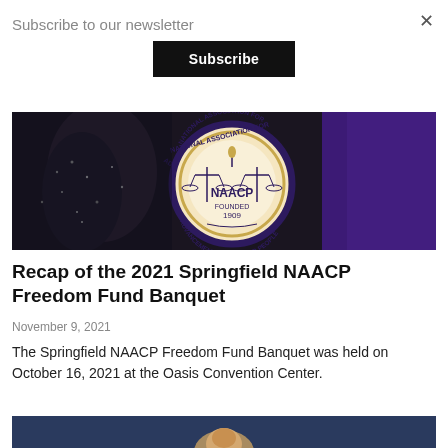Subscribe to our newsletter
Subscribe
[Figure (photo): Photo of the NAACP seal/logo medallion on a dark background with a person wearing a sequined outfit and purple curtain in the background. The seal reads 'NAACP founded 1909'.]
Recap of the 2021 Springfield NAACP Freedom Fund Banquet
November 9, 2021
The Springfield NAACP Freedom Fund Banquet was held on October 16, 2021 at the Oasis Convention Center.
[Figure (photo): Partial photo at the bottom of the page, cropped, showing a person's face.]